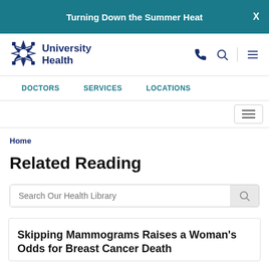Turning Down the Summer Heat
[Figure (logo): University Health logo with star/snowflake icon and text]
DOCTORS   SERVICES   LOCATIONS
Home
Related Reading
Search Our Health Library
Skipping Mammograms Raises a Woman's Odds for Breast Cancer Death